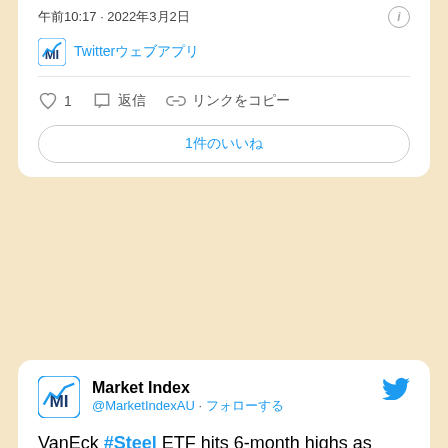午前10:17 · 2022年3月2日
Twitterウェブアプリ
♡ 1  返信  リンクをコピー
1件のいいね
Market Index @MarketIndexAU · フォローする
VanEck #Steel ETF hits 6-month highs as Russia-Ukraine crisis raises potential supply concerns
- Japan's Nippon Steel flags possible shortfall as 14% of iron ore pellet feedstock comes from RU/UKR
- ArcelorMittal said it was slowing down